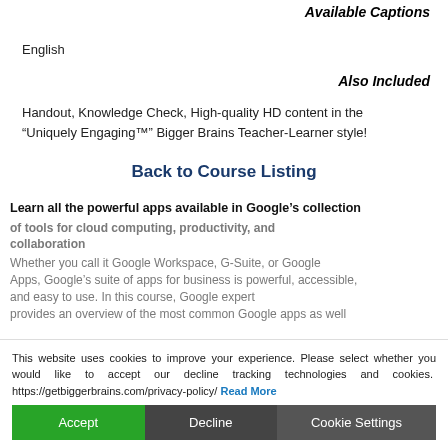Available Captions
English
Also Included
Handout, Knowledge Check, High-quality HD content in the “Uniquely Engaging™” Bigger Brains Teacher-Learner style!
Back to Course Listing
Learn all the powerful apps available in Google’s collection of tools for cloud computing, productivity, and collaboration
Whether you call it Google Workspace, G-Suite, or Google Apps, Google’s suite of apps for business is powerful, accessible, and easy to use. In this course, Google expert provides an overview of the most common Google apps as well
This website uses cookies to improve your experience. Please select whether you would like to accept our decline tracking technologies and cookies. https://getbiggerbrains.com/privacy-policy/ Read More
Accept  Decline  Cookie Settings